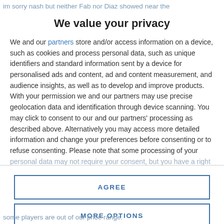im sorry nash but neither Fab nor Diaz showed near the
We value your privacy
We and our partners store and/or access information on a device, such as cookies and process personal data, such as unique identifiers and standard information sent by a device for personalised ads and content, ad and content measurement, and audience insights, as well as to develop and improve products. With your permission we and our partners may use precise geolocation data and identification through device scanning. You may click to consent to our and our partners' processing as described above. Alternatively you may access more detailed information and change your preferences before consenting or to refuse consenting. Please note that some processing of your personal data may not require your consent, but you have a right to
AGREE
MORE OPTIONS
some players are out of our price range.